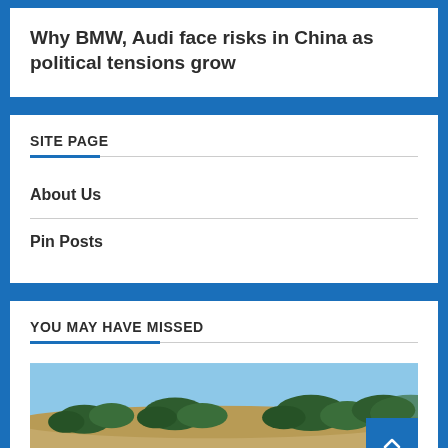Why BMW, Audi face risks in China as political tensions grow
SITE PAGE
About Us
Pin Posts
YOU MAY HAVE MISSED
[Figure (photo): Outdoor landscape photo showing trees and open terrain under a blue sky]